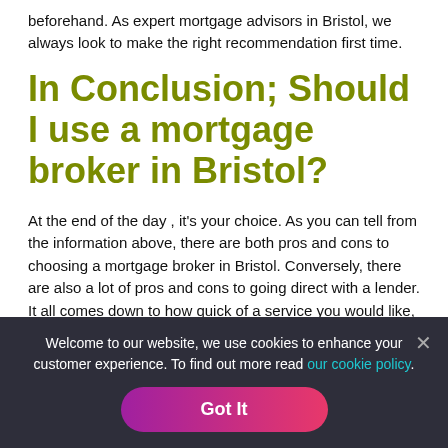beforehand. As expert mortgage advisors in Bristol, we always look to make the right recommendation first time.
In Conclusion; Should I use a mortgage broker in Bristol?
At the end of the day , it's your choice. As you can tell from the information above, there are both pros and cons to choosing a mortgage broker in Bristol. Conversely, there are also a lot of pros and cons to going direct with a lender. It all comes down to how quick of a service you would like, and how secure you want to be on your journey.
Welcome to our website, we use cookies to enhance your customer experience. To find out more read our cookie policy.